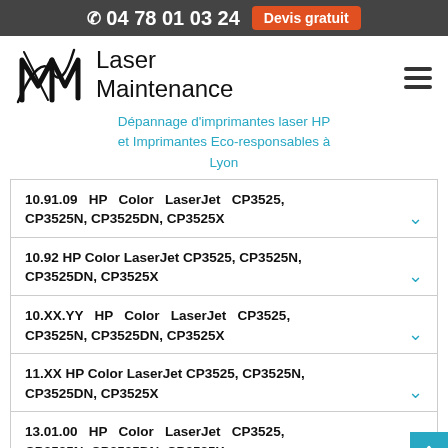04 78 01 03 24  Devis gratuit
[Figure (logo): Laser Maintenance logo with stylized M and swoosh]
Dépannage d'imprimantes laser HP et Imprimantes Eco-responsables à Lyon
10.91.09 HP Color LaserJet CP3525, CP3525N, CP3525DN, CP3525X
10.92 HP Color LaserJet CP3525, CP3525N, CP3525DN, CP3525X
10.XX.YY HP Color LaserJet CP3525, CP3525N, CP3525DN, CP3525X
11.XX HP Color LaserJet CP3525, CP3525N, CP3525DN, CP3525X
13.01.00 HP Color LaserJet CP3525, CP3525N, CP3525DN, CP3525X